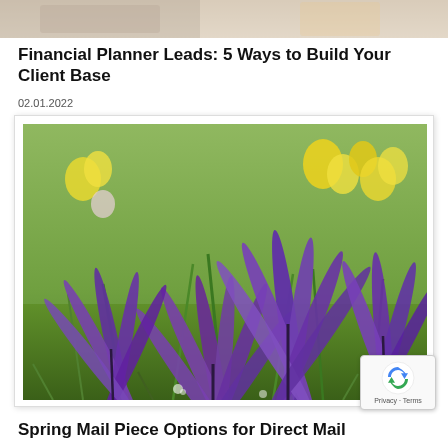[Figure (photo): Partial top image showing hands or people, cropped at the top of the page]
Financial Planner Leads: 5 Ways to Build Your Client Base
02.01.2022
[Figure (photo): Photograph of purple crocus flowers in a field with yellow flowers and green grass in the background]
Spring Mail Piece Options for Direct Mail